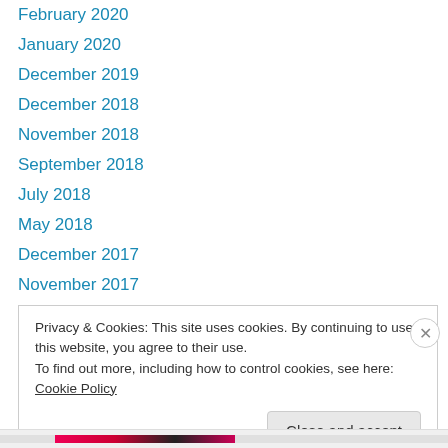February 2020
January 2020
December 2019
December 2018
November 2018
September 2018
July 2018
May 2018
December 2017
November 2017
October 2017
September 2017
August 2017
Privacy & Cookies: This site uses cookies. By continuing to use this website, you agree to their use.
To find out more, including how to control cookies, see here: Cookie Policy
Close and accept